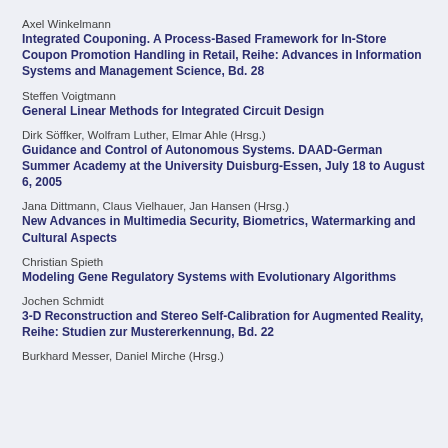Axel Winkelmann
Integrated Couponing. A Process-Based Framework for In-Store Coupon Promotion Handling in Retail, Reihe: Advances in Information Systems and Management Science, Bd. 28
Steffen Voigtmann
General Linear Methods for Integrated Circuit Design
Dirk Söffker, Wolfram Luther, Elmar Ahle (Hrsg.)
Guidance and Control of Autonomous Systems. DAAD-German Summer Academy at the University Duisburg-Essen, July 18 to August 6, 2005
Jana Dittmann, Claus Vielhauer, Jan Hansen (Hrsg.)
New Advances in Multimedia Security, Biometrics, Watermarking and Cultural Aspects
Christian Spieth
Modeling Gene Regulatory Systems with Evolutionary Algorithms
Jochen Schmidt
3-D Reconstruction and Stereo Self-Calibration for Augmented Reality, Reihe: Studien zur Mustererkennung, Bd. 22
Burkhard Messer, Daniel Mirche (Hrsg.)